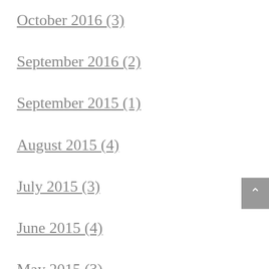October 2016 (3)
September 2016 (2)
September 2015 (1)
August 2015 (4)
July 2015 (3)
June 2015 (4)
May 2015 (3)
April 2015 (3)
March 2015 (4)